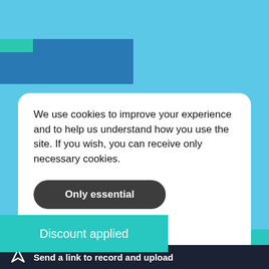[Figure (screenshot): Website header with light blue background, dark blue rectangle overlay and small teal rectangle in top-left corner]
We use cookies to improve your experience and to help us understand how you use the site. If you wish, you can receive only necessary cookies.
Only essential
[Figure (screenshot): Teal 'Discount applied' notification banner overlapping the cookie consent card]
Discount applied
Send a link to record and upload